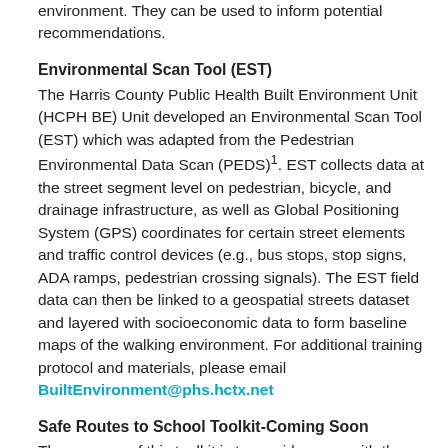environment. They can be used to inform potential recommendations.
Environmental Scan Tool (EST)
The Harris County Public Health Built Environment Unit (HCPH BE) Unit developed an Environmental Scan Tool (EST) which was adapted from the Pedestrian Environmental Data Scan (PEDS)1. EST collects data at the street segment level on pedestrian, bicycle, and drainage infrastructure, as well as Global Positioning System (GPS) coordinates for certain street elements and traffic control devices (e.g., bus stops, stop signs, ADA ramps, pedestrian crossing signals). The EST field data can then be linked to a geospatial streets dataset and layered with socioeconomic data to form baseline maps of the walking environment. For additional training protocol and materials, please email BuiltEnvironment@phs.hctx.net
Safe Routes to School Toolkit-Coming Soon
The purpose of this toolkit is to provide users with the knowledge and understanding needed to bring SRTS to their community and find solutions that work best for them.
Healthy Development Guide-Coming Soon
Building Healthy in Harris County is designed to promote healthy urban planning and development by providing